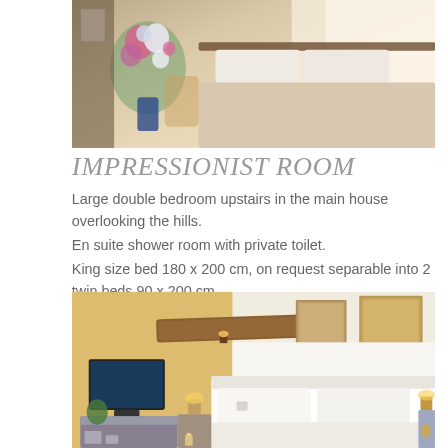[Figure (photo): Bedroom photo showing a bed with white pillows, flowers, and sunlit room in the main house]
IMPRESSIONIST ROOM
Large double bedroom upstairs in the main house overlooking the hills.
En suite shower room with private toilet.
King size bed 180 x 200 cm, on request separable into 2 twin beds 90 x 200 cm.
85euros / 1 person
95 euros / 2 persons
[Figure (photo): Bedroom interior with rustic wooden beam, framed paintings, television, bedside lamps, and white bed]